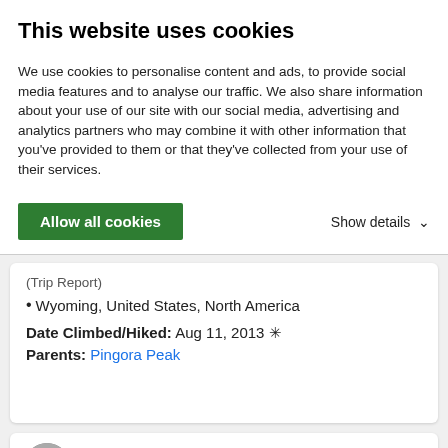This website uses cookies
We use cookies to personalise content and ads, to provide social media features and to analyse our traffic. We also share information about your use of our site with our social media, advertising and analytics partners who may combine it with other information that you’ve provided to them or that they’ve collected from your use of their services.
Allow all cookies
Show details ⌃
(Trip Report)
• Wyoming, United States, North America
Date Climbed/Hiked: Aug 11, 2013 ✳
Parents: Pingora Peak
Puma concolor  Score: 94.44%  Views: 5866
[Figure (photo): Partial view of a person in winter gear against a blue sky background]